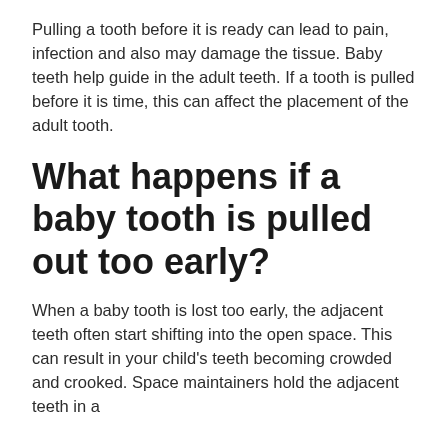Pulling a tooth before it is ready can lead to pain, infection and also may damage the tissue. Baby teeth help guide in the adult teeth. If a tooth is pulled before it is time, this can affect the placement of the adult tooth.
What happens if a baby tooth is pulled out too early?
When a baby tooth is lost too early, the adjacent teeth often start shifting into the open space. This can result in your child's teeth becoming crowded and crooked. Space maintainers hold the adjacent teeth in a